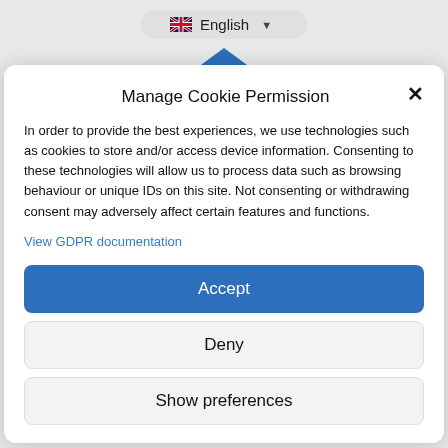[Figure (screenshot): Language selector dropdown showing UK flag and 'English' label with a dropdown arrow]
Manage Cookie Permission
In order to provide the best experiences, we use technologies such as cookies to store and/or access device information. Consenting to these technologies will allow us to process data such as browsing behaviour or unique IDs on this site. Not consenting or withdrawing consent may adversely affect certain features and functions.
View GDPR documentation
Accept
Deny
Show preferences